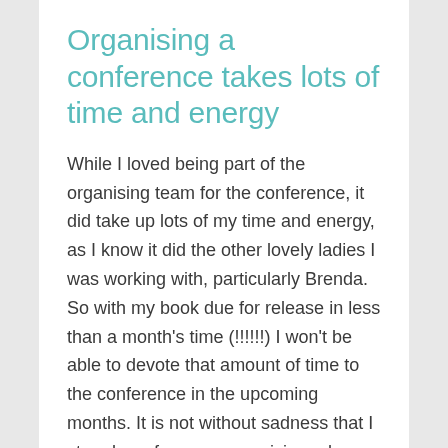Organising a conference takes lots of time and energy
While I loved being part of the organising team for the conference, it did take up lots of my time and energy, as I know it did the other lovely ladies I was working with, particularly Brenda. So with my book due for release in less than a month's time (!!!!!!) I won't be able to devote that amount of time to the conference in the upcoming months. It is not without sadness that I step down from my organising role, as it was wonderful to be part of such a memorable event. I will